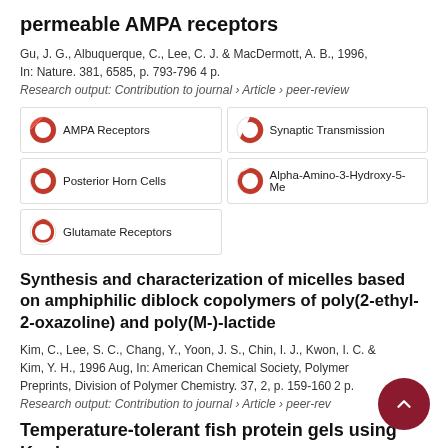permeable AMPA receptors
Gu, J. G., Albuquerque, C., Lee, C. J. & MacDermott, A. B., 1996, In: Nature. 381, 6585, p. 793-796 4 p.
Research output: Contribution to journal › Article › peer-review
[Figure (infographic): Five keyword badges with donut-style percentage indicators: AMPA Receptors (100%), Synaptic Transmission (~75%), Posterior Horn Cells (~50%), Alpha-Amino-3-Hydroxy-5-Me (~50%), Glutamate Receptors (~30%)]
Synthesis and characterization of micelles based on amphiphilic diblock copolymers of poly(2-ethyl-2-oxazoline) and poly(M-)-lactide
Kim, C., Lee, S. C., Chang, Y., Yoon, J. S., Chin, I. J., Kwon, I. C. & Kim, Y. H., 1996 Aug, In: American Chemical Society, Polymer Preprints, Division of Polymer Chemistry. 37, 2, p. 159-160 2 p.
Research output: Contribution to journal › Article › peer-review
Temperature-tolerant fish protein gels using Konjac